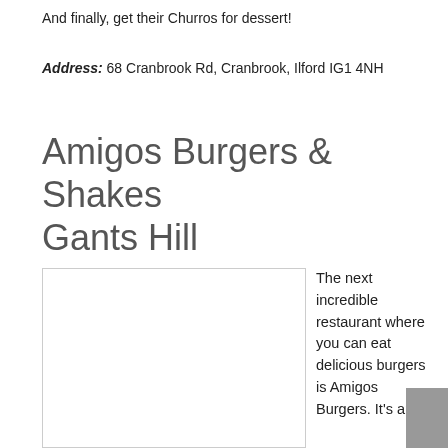And finally, get their Churros for dessert!
Address: 68 Cranbrook Rd, Cranbrook, Ilford IG1 4NH
Amigos Burgers & Shakes Gants Hill
[Figure (photo): Photo placeholder for Amigos Burgers & Shakes Gants Hill]
The next incredible restaurant where you can eat delicious burgers is Amigos Burgers. It's an